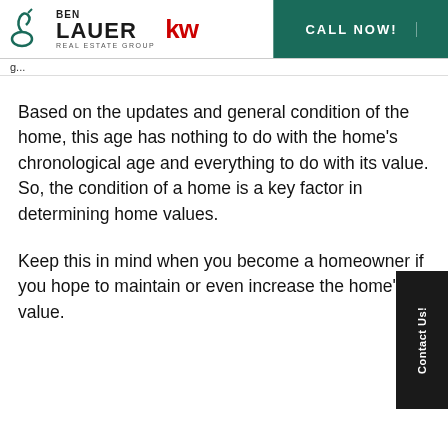[Figure (logo): Ben Lauer Real Estate Group KW (Keller Williams) logo with CALL NOW! button]
Based on the updates and general condition of the home, this age has nothing to do with the home's chronological age and everything to do with its value. So, the condition of a home is a key factor in determining home values.
Keep this in mind when you become a homeowner if you hope to maintain or even increase the home's value.